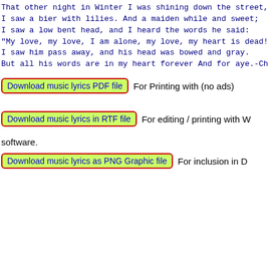That other night in Winter I was shining down the street,
I saw a bier with lilies. And a maiden while and sweet;
I saw a low bent head, and I heard the words he said:
"My love, my love, I am alone, my love, my heart is dead!"
I saw him pass away, and his head was bowed and gray.
But all his words are in my heart forever And for aye.-Ch
Download music lyrics PDF file   For Printing with (no ads)
Download music lyrics in RTF file   For editing / printing with W
software.
Download music lyrics as PNG Graphic file   For inclusion in D